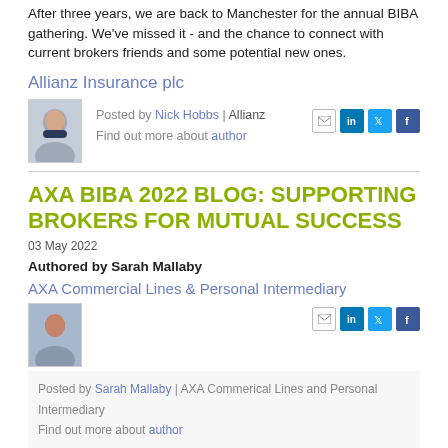After three years, we are back to Manchester for the annual BIBA gathering. We've missed it - and the chance to connect with current brokers friends and some potential new ones.
Allianz Insurance plc
[Figure (photo): Headshot photo of Nick Hobbs]
Posted by Nick Hobbs | Allianz
Find out more about author
AXA BIBA 2022 BLOG: SUPPORTING BROKERS FOR MUTUAL SUCCESS
03 May 2022
Authored by Sarah Mallaby
AXA Commercial Lines & Personal Intermediary
[Figure (photo): Headshot photo of Sarah Mallaby]
Posted by Sarah Mallaby | AXA Commerical Lines and Personal Intermediary
Find out more about author